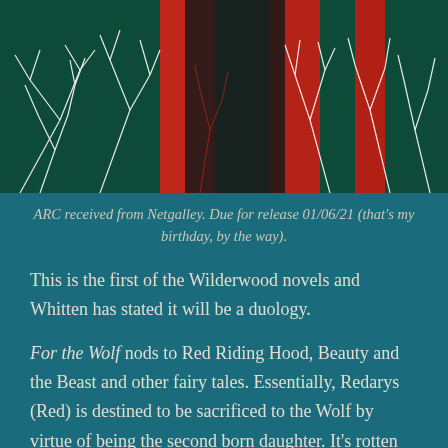[Figure (illustration): Book cover art for 'For the Wolf' showing white bare tree branches against a dark background with red vertical elements, on a dark teal/green background.]
ARC received from Netgalley. Due for release 01/06/21 (that's my birthday, by the way).
This is the first of the Wilderwood novels and Whitten has stated it will be a duology.
For the Wolf nods to Red Riding Hood, Beauty and the Beast and other fairy tales. Essentially, Redarys (Red) is destined to be sacrificed to the Wolf by virtue of being the second born daughter. It's rotten luck given she is a twin. The practice is intended to keep the world safe from the Wilderwood and the Shadowlands, as well as potentially returning the Five Kings who have been